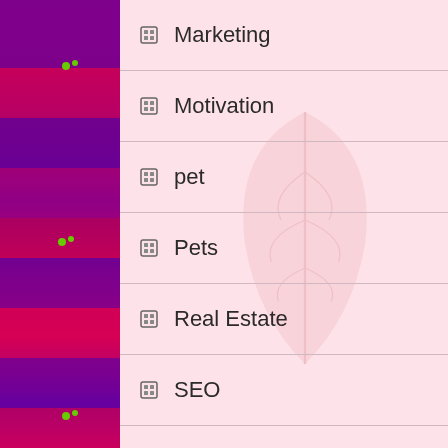Marketing
Motivation
pet
Pets
Real Estate
SEO
Shopping
Social Media
Software
Sports
Technology
Travel
Uncategorized